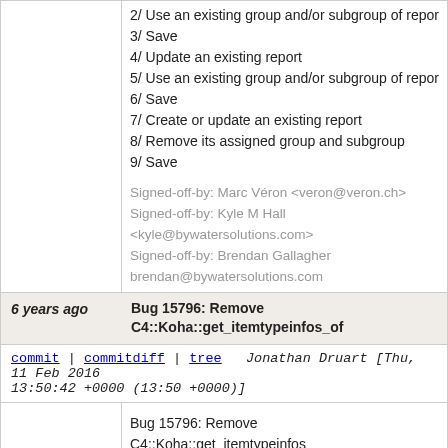2/ Use an existing group and/or subgroup of repo
3/ Save
4/ Update an existing report
5/ Use an existing group and/or subgroup of repor
6/ Save
7/ Create or update an existing report
8/ Remove its assigned group and subgroup
9/ Save
Signed-off-by: Marc Véron <veron@veron.ch>
Signed-off-by: Kyle M Hall <kyle@bywatersolutions.com>
Signed-off-by: Brendan Gallagher brendan@bywatersolutions.com
6 years ago   Bug 15796: Remove C4::Koha::get_itemtypeinfos_of
commit | commitdiff | tree   Jonathan Druart [Thu, 11 Feb 2016 13:50:42 +0000 (13:50 +0000)]
Bug 15796: Remove C4::Koha::get_itemtypeinfos_

This subroutine is no longer in use.

Test plan:
  git grep get_itemtypeinfos_of
should not return any results.
Signed-off-by: Marcel de Rooy <m.de.rooy@rijksmuseum.nl>